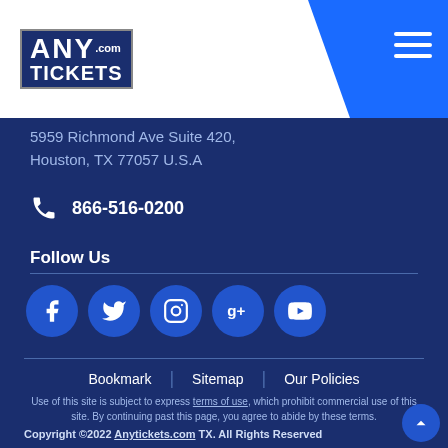[Figure (logo): AnyTickets.com logo in top left with ticket graphic]
5959 Richmond Ave Suite 420, Houston, TX 77057 U.S.A
866-516-0200
Follow Us
[Figure (infographic): Social media icons: Facebook, Twitter, Instagram, Google+, YouTube]
Bookmark | Sitemap | Our Policies
Use of this site is subject to express terms of use, which prohibit commercial use of this site. By continuing past this page, you agree to abide by these terms.
Copyright ©2022 Anytickets.com TX. All Rights Reserved